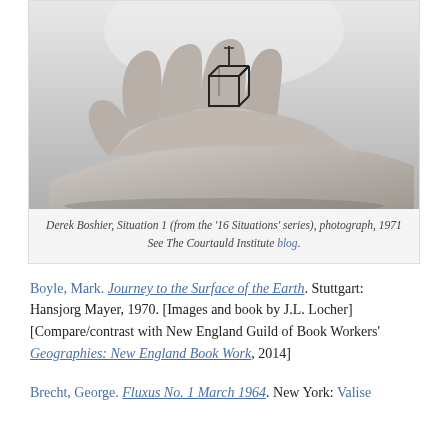[Figure (photo): Black and white photograph of a hand holding a small open cube/box structure against a light background. The hand is extended palm-up with the geometric object resting on the fingers.]
Derek Boshier, Situation 1 (from the '16 Situations' series), photograph, 1971
See The Courtauld Institute blog.
Boyle, Mark. Journey to the Surface of the Earth. Stuttgart: Hansjorg Mayer, 1970. [Images and book by J.L. Locher] [Compare/contrast with New England Guild of Book Workers' Geographies: New England Book Work, 2014]
Brecht, George. Fluxus No. 1 March 1964. New York: Valise